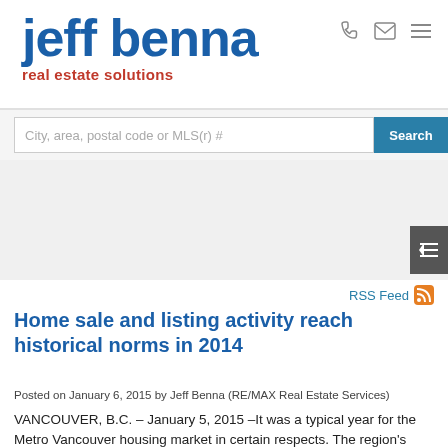[Figure (logo): Jeff Benna Real Estate Solutions logo — 'jeff benna' in large bold blue text, 'real estate solutions' in red below]
[Figure (screenshot): Search bar with placeholder 'City, area, postal code or MLS(r) #' and a blue Search button]
[Figure (other): RSS Feed icon link on right side]
Home sale and listing activity reach historical norms in 2014
Posted on January 6, 2015 by Jeff Benna (RE/MAX Real Estate Services)
VANCOUVER, B.C. – January 5, 2015 –It was a typical year for the Metro Vancouver housing market in certain respects. The region's home sale and listing totals for 2014 both rank fifth when compared against the past 10 years of activity, while